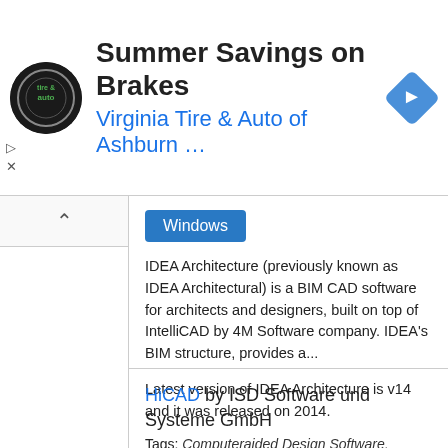[Figure (screenshot): Ad banner for Virginia Tire & Auto of Ashburn with circular logo, headline 'Summer Savings on Brakes', blue nav icon diamond, and play/close controls]
Windows
IDEA Architecture (previously known as IDEA Architectural) is a BIM CAD software for architects and designers, built on top of IntelliCAD by 4M Software company. IDEA's BIM structure, provides a...
Latest version of IDEA Architecture is v14 and it was released on 2014.
Tags: Computeraided Design Software, Building Information Modeling, 3d Graphics Software, Architectural Design
HiCAD by ISD Software und Systeme GmbH